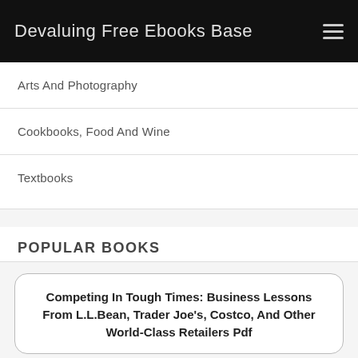Devaluing Free Ebooks Base
Arts And Photography
Cookbooks, Food And Wine
Textbooks
POPULAR BOOKS
Competing In Tough Times: Business Lessons From L.L.Bean, Trader Joe's, Costco, And Other World-Class Retailers Pdf
U.S. Supreme Court Transcript Of Record Offutt Housing Company, A Corporation, Petitioner, V. County Of Sarpy And Robert M. Eby, Treasurer Of